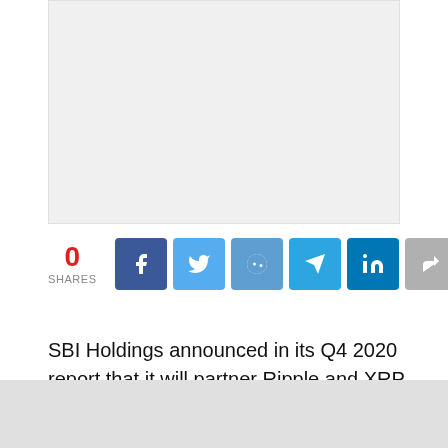[Figure (other): Advertisement placeholder area with light gray background]
0 SHARES
SBI Holdings announced in its Q4 2020 report that it will partner Ripple and XRP for cross-border